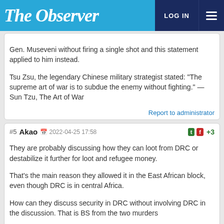The Observer | LOG IN
Gen. Museveni without firing a single shot and this statement applied to him instead.

Tsu Zsu, the legendary Chinese military strategist stated: "The supreme art of war is to subdue the enemy without fighting." — Sun Tzu, The Art of War
Report to administrator
#5 Akao 2022-04-25 17:58 +3
They are probably discussing how they can loot from DRC or destabilize it further for loot and refugee money.

That's the main reason they allowed it in the East African block, even though DRC is in central Africa.

How can they discuss security in DRC without involving DRC in the discussion. That is BS from the two murders
Report to administrator
#6 A K Mukasa 2022-04-25 22:09 +3
The two are now working together for their own survival as one of them knows his survival is no longer dependent on the goodwill of Ugandans but on the suppression of Ugandans within Uganda and outside Uganda.

He can't afford to have enemies across the borders as the...